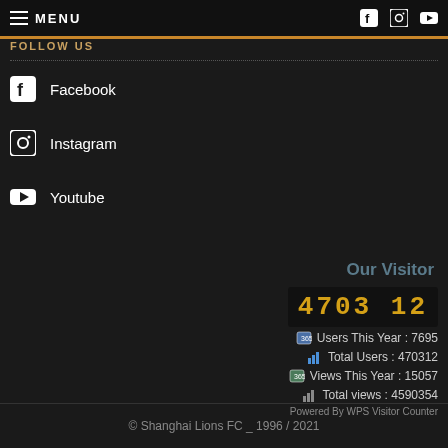MENU
FOLLOW US
Facebook
Instagram
Youtube
Our Visitor
470312
Users This Year : 7695
Total Users : 470312
Views This Year : 15057
Total views : 4590354
Powered By WPS Visitor Counter
© Shanghai Lions FC _ 1996 / 2021